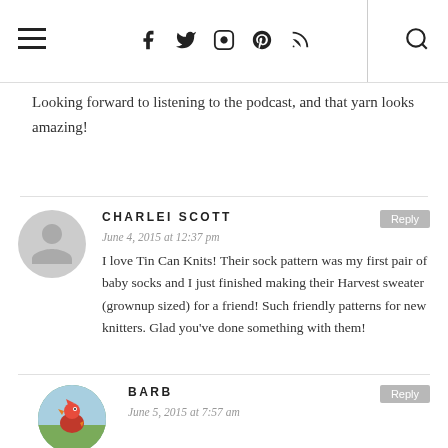Navigation bar with hamburger menu, social icons (Facebook, Twitter, Instagram, Pinterest, RSS), and search icon
Looking forward to listening to the podcast, and that yarn looks amazing!
CHARLEI SCOTT
June 4, 2015 at 12:37 pm
I love Tin Can Knits! Their sock pattern was my first pair of baby socks and I just finished making their Harvest sweater (grownup sized) for a friend! Such friendly patterns for new knitters. Glad you've done something with them!
BARB
June 5, 2015 at 7:57 am